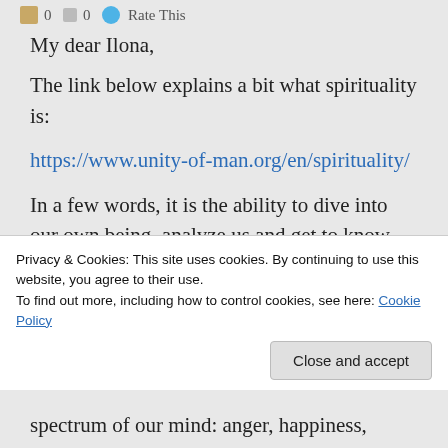0  0  Rate This
My dear Ilona,
The link below explains a bit what spirituality is:
https://www.unity-of-man.org/en/spirituality/
In a few words, it is the ability to dive into our own being, analyze us and get to know the mind, how it works, become more conscious in the process of: “Man know thyself”… the strange thing is that we all
Privacy & Cookies: This site uses cookies. By continuing to use this website, you agree to their use.
To find out more, including how to control cookies, see here: Cookie Policy
spectrum of our mind: anger, happiness,